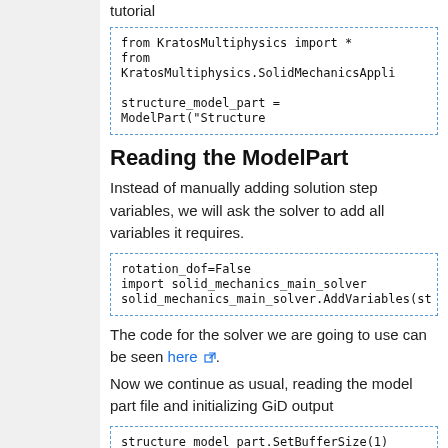tutorial
[Figure (screenshot): Code block: from KratosMultiphysics import *
from KratosMultiphysics.SolidMechanicsAppli...

structure_model_part = ModelPart("Structure...]
Reading the ModelPart
Instead of manually adding solution step variables, we will ask the solver to add all variables it requires.
[Figure (screenshot): Code block: rotation_dof=False
import solid_mechanics_main_solver
solid_mechanics_main_solver.AddVariables(str...]
The code for the solver we are going to use can be seen here ⧉.
Now we continue as usual, reading the model part file and initializing GiD output
[Figure (screenshot): Code block: structure_model_part.SetBufferSize(1)

model_part_io_structure = ModelPartIO("exam...
model_part_io_structure.ReadModelPart(struc...

#Creating GidIO
gid_mode = GiDPostMode.GiD_PostBinary ...]